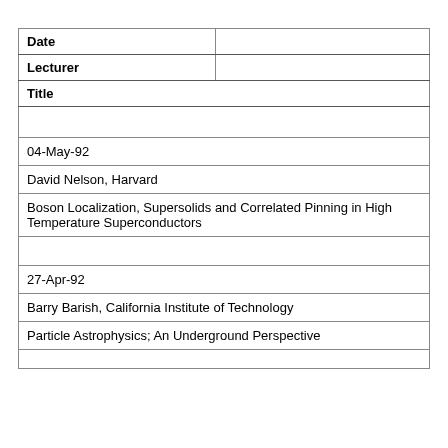| Date |  | Lecturer |  | Title |  |
| --- | --- | --- | --- | --- | --- |
|  |  |  |  |
| 04-May-92 |  |  |  |
| David Nelson, Harvard |  |  |  |
| Boson Localization, Supersolids and Correlated Pinning in High Temperature Superconductors |  |  |  |
|  |  |  |  |
| 27-Apr-92 |  |  |  |
| Barry Barish, California Institute of Technology |  |  |  |
| Particle Astrophysics; An Underground Perspective |  |  |  |
|  |  |  |  |